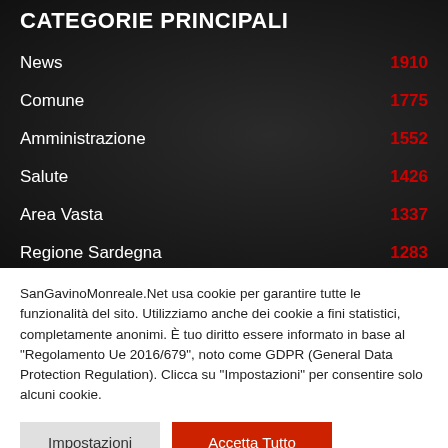CATEGORIE PRINCIPALI
News 1910
Comune 1775
Amministrazione 1552
Salute 1426
Area Vasta 1337
Regione Sardegna 1283
SanGavinoMonreale.Net usa cookie per garantire tutte le funzionalità del sito. Utilizziamo anche dei cookie a fini statistici, completamente anonimi. È tuo diritto essere informato in base al "Regolamento Ue 2016/679", noto come GDPR (General Data Protection Regulation). Clicca su "Impostazioni" per consentire solo alcuni cookie.
Impostazioni
Accetta Tutto